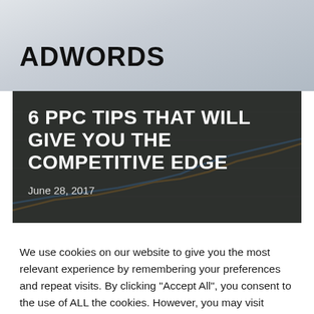ADWORDS
[Figure (screenshot): Hero banner with dark semi-transparent overlay over a line chart background. Contains large white bold headline '6 PPC TIPS THAT WILL GIVE YOU THE COMPETITIVE EDGE' and date 'June 28, 2017'.]
We use cookies on our website to give you the most relevant experience by remembering your preferences and repeat visits. By clicking "Accept All", you consent to the use of ALL the cookies. However, you may visit "Cookie Settings" to provide a controlled consent.
Cookie Settings    Accept All